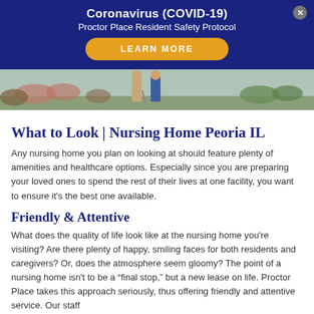Coronavirus (COVID-19)
Proctor Place Resident Safety Protocol
[Figure (photo): Outdoor photo strip showing elderly residents and caregivers walking outside among plants and flowers]
What to Look | Nursing Home Peoria IL
Any nursing home you plan on looking at should feature plenty of amenities and healthcare options. Especially since you are preparing your loved ones to spend the rest of their lives at one facility, you want to ensure it's the best one available.
Friendly & Attentive
What does the quality of life look like at the nursing home you're visiting? Are there plenty of happy, smiling faces for both residents and caregivers? Or, does the atmosphere seem gloomy? The point of a nursing home isn't to be a “final stop,” but a new lease on life. Proctor Place takes this approach seriously, thus offering friendly and attentive service. Our staff